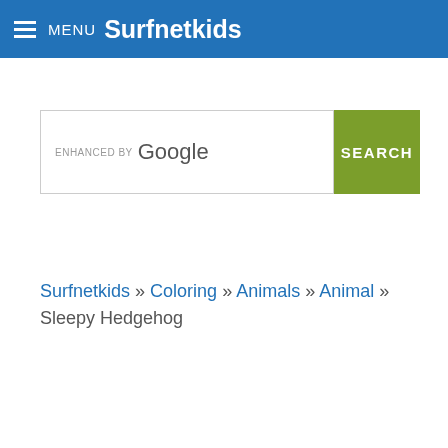MENU Surfnetkids
[Figure (screenshot): Search bar with 'ENHANCED BY Google' text and a green SEARCH button]
Surfnetkids » Coloring » Animals » Animal » Sleepy Hedgehog